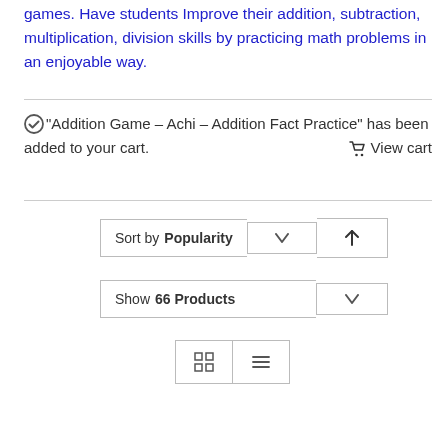games. Have students Improve their addition, subtraction, multiplication, division skills by practicing math problems in an enjoyable way.
"Addition Game – Achi – Addition Fact Practice" has been added to your cart.   View cart
Sort by Popularity
Show 66 Products